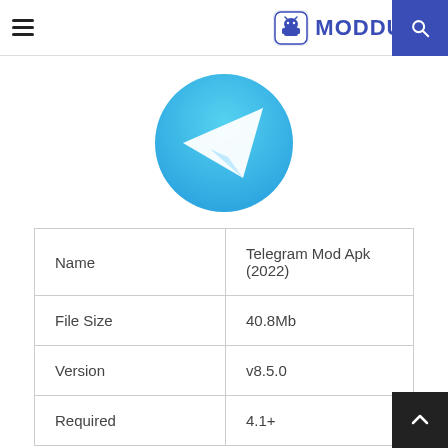MODDUDE
[Figure (logo): Telegram app icon: teal/cyan circular gradient background with white paper plane send icon in the center]
| Name | Telegram Mod Apk (2022) |
| File Size | 40.8Mb |
| Version | v8.5.0 |
| Required | 4.1+ |